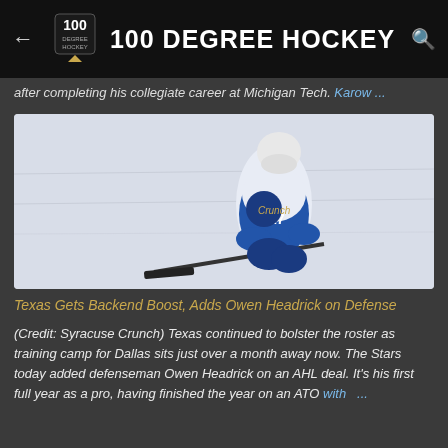100 DEGREE HOCKEY
after completing his collegiate career at Michigan Tech. Karow ...
[Figure (photo): Hockey player wearing white and blue Syracuse Crunch AHL jersey number 27, skating on ice with a hockey stick]
Texas Gets Backend Boost, Adds Owen Headrick on Defense
(Credit: Syracuse Crunch) Texas continued to bolster the roster as training camp for Dallas sits just over a month away now. The Stars today added defenseman Owen Headrick on an AHL deal. It's his first full year as a pro, having finished the year on an ATO with ...